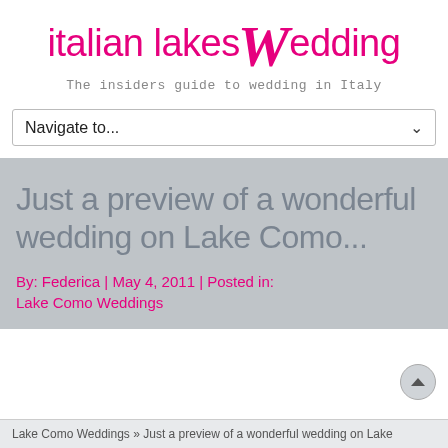italian lakes Wedding — The insiders guide to wedding in Italy
Navigate to...
Just a preview of a wonderful wedding on Lake Como...
By: Federica | May 4, 2011 | Posted in: Lake Como Weddings
Lake Como Weddings » Just a preview of a wonderful wedding on Lake